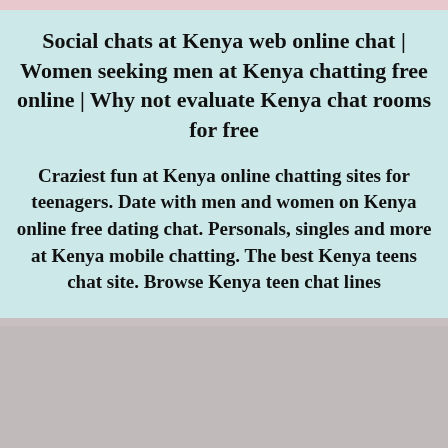Social chats at Kenya web online chat | Women seeking men at Kenya chatting free online | Why not evaluate Kenya chat rooms for free
Craziest fun at Kenya online chatting sites for teenagers. Date with men and women on Kenya online free dating chat. Personals, singles and more at Kenya mobile chatting. The best Kenya teens chat site. Browse Kenya teen chat lines